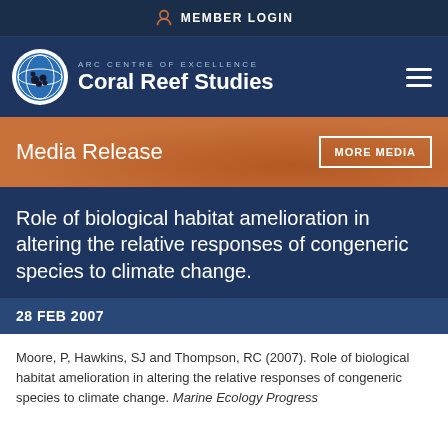MEMBER LOGIN
[Figure (logo): ARC Centre of Excellence Coral Reef Studies logo with globe icon]
Media Release
Role of biological habitat amelioration in altering the relative responses of congeneric species to climate change.
28 FEB 2007
Moore, P, Hawkins, SJ and Thompson, RC (2007). Role of biological habitat amelioration in altering the relative responses of congeneric species to climate change. Marine Ecology Progress